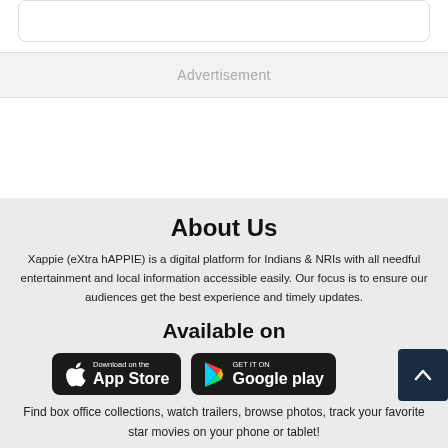[Figure (other): Top white card/panel, partially visible at top of page]
Advertisement
About Us
Xappie (eXtra hAPPIE) is a digital platform for Indians & NRIs with all needful entertainment and local information accessible easily. Our focus is to ensure our audiences get the best experience and timely updates.
Available on
[Figure (other): Download on the App Store button (black rounded rectangle with Apple logo)]
[Figure (other): Get it on Google Play button (black rounded rectangle with Google Play logo)]
[Figure (other): Scroll to top button (dark navy square with upward chevron arrow)]
Find box office collections, watch trailers, browse photos, track your favorite star movies on your phone or tablet!